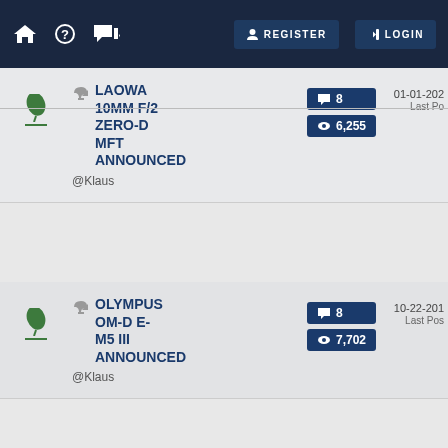REGISTER  LOGIN
LAOWA 10MM F/2 ZERO-D MFT ANNOUNCED — @Klaus — 8 replies, 6,255 views — 01-01-202 Last Po
OLYMPUS OM-D E-M5 III ANNOUNCED — @Klaus — 8 replies, 7,702 views — 10-22-201 Last Pos
NEXT OL LENS TEST REPORT - LEICA DG VARIO-ELMAR 100- — 8 replies, 6,677 views — 12-15-201 Last Po